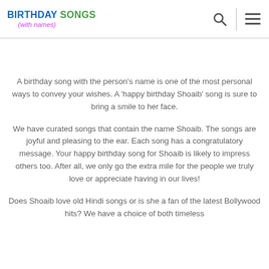BIRTHDAY SONGS (with names)
A birthday song with the person’s name is one of the most personal ways to convey your wishes. A ‘happy birthday Shoaib’ song is sure to bring a smile to her face.
We have curated songs that contain the name Shoaib. The songs are joyful and pleasing to the ear. Each song has a congratulatory message. Your happy birthday song for Shoaib is likely to impress others too. After all, we only go the extra mile for the people we truly love or appreciate having in our lives!
Does Shoaib love old Hindi songs or is she a fan of the latest Bollywood hits? We have a choice of both timeless